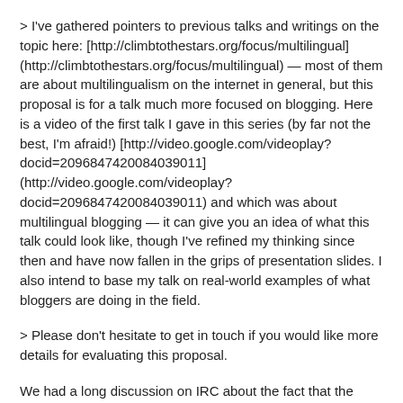> I've gathered pointers to previous talks and writings on the topic here: [http://climbtothestars.org/focus/multilingual] (http://climbtothestars.org/focus/multilingual) — most of them are about multilingualism on the internet in general, but this proposal is for a talk much more focused on blogging. Here is a video of the first talk I gave in this series (by far not the best, I'm afraid!) [http://video.google.com/videoplay?docid=2096847420084039011] (http://video.google.com/videoplay?docid=2096847420084039011) and which was about multilingual blogging — it can give you an idea of what this talk could look like, though I've refined my thinking since then and have now fallen in the grips of presentation slides. I also intend to base my talk on real-world examples of what bloggers are doing in the field.
> Please don't hesitate to get in touch if you would like more details for evaluating this proposal.
We had a long discussion on IRC about the fact that the submission process required a 2-page paper for a talk (in all honesty, for me, almost the same amount of sweat and tears as preparing the talk itself — I'll let you figure that one out yourself). BlogTalk is a conference which aims to bridge the space between academics and practitioners, and a 2-page paper, I understood, was actually a kind of compromise